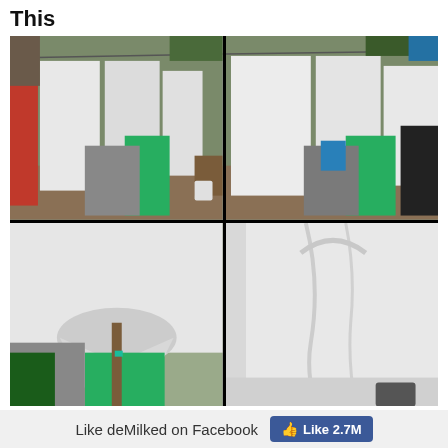This
[Figure (photo): Four-panel photo collage showing laundry hanging on clotheslines outdoors on a deck, with white sheets/fabric hanging beside green, gray, red, and black clothing items. The bottom two panels show close-up views of the white fabric.]
Like deMilked on Facebook
Like 2.7M